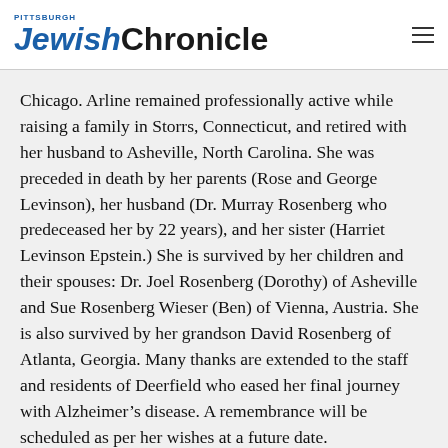Pittsburgh Jewish Chronicle
Chicago. Arline remained professionally active while raising a family in Storrs, Connecticut, and retired with her husband to Asheville, North Carolina. She was preceded in death by her parents (Rose and George Levinson), her husband (Dr. Murray Rosenberg who predeceased her by 22 years), and her sister (Harriet Levinson Epstein.) She is survived by her children and their spouses: Dr. Joel Rosenberg (Dorothy) of Asheville and Sue Rosenberg Wieser (Ben) of Vienna, Austria. She is also survived by her grandson David Rosenberg of Atlanta, Georgia. Many thanks are extended to the staff and residents of Deerfield who eased her final journey with Alzheimer’s disease. A remembrance will be scheduled as per her wishes at a future date.